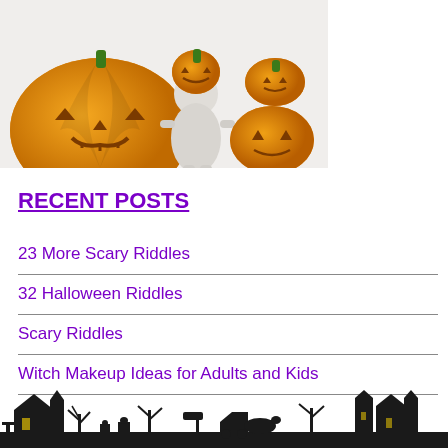[Figure (photo): A 3D white figure holding a jack-o-lantern pumpkin head, surrounded by carved Halloween pumpkins on a white background]
RECENT POSTS
23 More Scary Riddles
32 Halloween Riddles
Scary Riddles
Witch Makeup Ideas for Adults and Kids
[Figure (illustration): Black silhouette Halloween skyline with haunted houses, bare trees, tombstones, and a horse-drawn carriage]